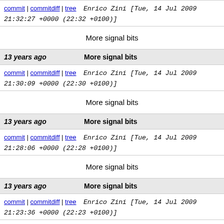commit | commitdiff | tree   Enrico Zini [Tue, 14 Jul 2009 21:32:27 +0000 (22:32 +0100)]
More signal bits
13 years ago   More signal bits
commit | commitdiff | tree   Enrico Zini [Tue, 14 Jul 2009 21:30:09 +0000 (22:30 +0100)]
More signal bits
13 years ago   More signal bits
commit | commitdiff | tree   Enrico Zini [Tue, 14 Jul 2009 21:28:06 +0000 (22:28 +0100)]
More signal bits
13 years ago   More signal bits
commit | commitdiff | tree   Enrico Zini [Tue, 14 Jul 2009 21:23:36 +0000 (22:23 +0100)]
More signal bits
13 years ago   More signal bits